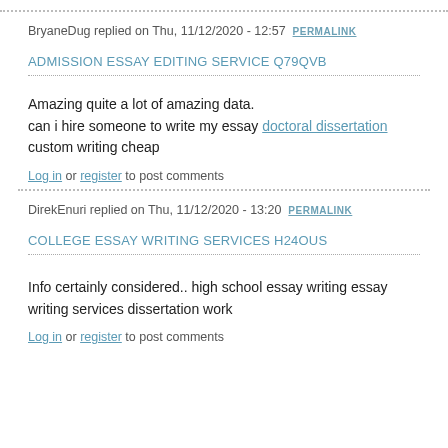BryaneDug replied on Thu, 11/12/2020 - 12:57 PERMALINK
ADMISSION ESSAY EDITING SERVICE Q79QVB
Amazing quite a lot of amazing data.
can i hire someone to write my essay doctoral dissertation custom writing cheap
Log in or register to post comments
DirekEnuri replied on Thu, 11/12/2020 - 13:20 PERMALINK
COLLEGE ESSAY WRITING SERVICES H24OUS
Info certainly considered.. high school essay writing essay writing services dissertation work
Log in or register to post comments